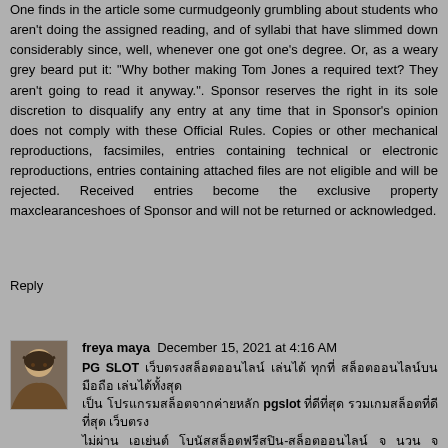One finds in the article some curmudgeonly grumbling about students who aren't doing the assigned reading, and of syllabi that have slimmed down considerably since, well, whenever one got one's degree. Or, as a weary grey beard put it: "Why bother making Tom Jones a required text? They aren't going to read it anyway.". Sponsor reserves the right in its sole discretion to disqualify any entry at any time that in Sponsor's opinion does not comply with these Official Rules. Copies or other mechanical reproductions, facsimiles, entries containing technical or electronic reproductions, entries containing attached files are not eligible and will be rejected. Received entries become the exclusive property maxclearanceshoes of Sponsor and will not be returned or acknowledged.
Reply
[Figure (photo): Avatar photo of user freya maya]
freya maya  December 15, 2021 at 4:16 AM
PG SLOT [Thai text] pgslot [Thai text]